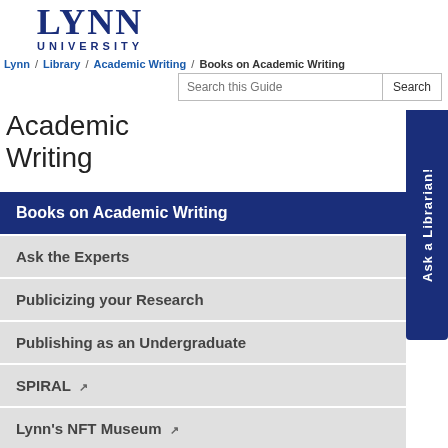[Figure (logo): Lynn University logo with large LYNN text and UNIVERSITY below in dark navy blue]
Lynn / Library / Academic Writing / Books on Academic Writing
Search this Guide
Academic Writing
Books on Academic Writing
Ask the Experts
Publicizing your Research
Publishing as an Undergraduate
SPIRAL ↗
Lynn's NFT Museum ↗
Canvas Academic Writing Course ↗